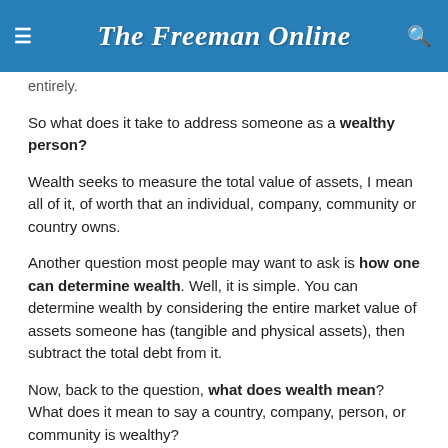The Freeman Online
entirely.
So what does it take to address someone as a wealthy person?
Wealth seeks to measure the total value of assets, I mean all of it, of worth that an individual, company, community or country owns.
Another question most people may want to ask is how one can determine wealth. Well, it is simple. You can determine wealth by considering the entire market value of assets someone has (tangible and physical assets), then subtract the total debt from it.
Now, back to the question, what does wealth mean? What does it mean to say a country, company, person, or community is wealthy?